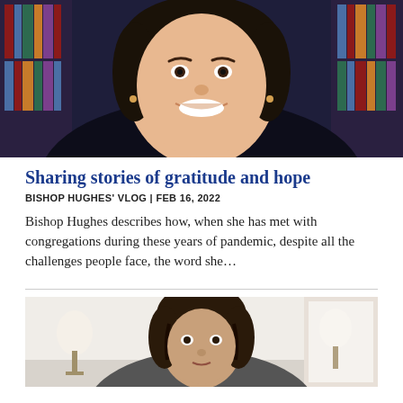[Figure (photo): Photo of Bishop Hughes smiling, wearing dark cardigan with light purple collar, bookshelves visible in background]
Sharing stories of gratitude and hope
BISHOP HUGHES' VLOG | FEB 16, 2022
Bishop Hughes describes how, when she has met with congregations during these years of pandemic, despite all the challenges people face, the word she…
[Figure (photo): Photo of a person with dark hair, shown from shoulders up, in a room with a lamp visible in the background]